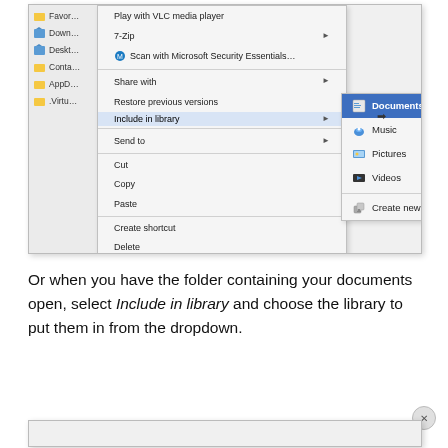[Figure (screenshot): Windows Explorer context menu showing right-click options including 'Include in library' highlighted, with submenu showing Documents (highlighted), Music, Pictures, Videos, and Create new library options.]
Or when you have the folder containing your documents open, select Include in library and choose the library to put them in from the dropdown.
[Figure (screenshot): Bottom portion of another screenshot, partially visible.]